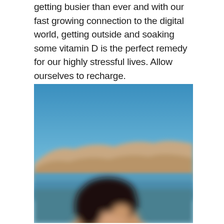getting busier than ever and with our fast growing connection to the digital world, getting outside and soaking some vitamin D is the perfect remedy for our highly stressful lives. Allow ourselves to recharge.
[Figure (photo): A blurred outdoor photo showing a person with dark hair in the foreground, with a blue sky and rocky hills/mountains in the background, suggesting an outdoor setting near water.]